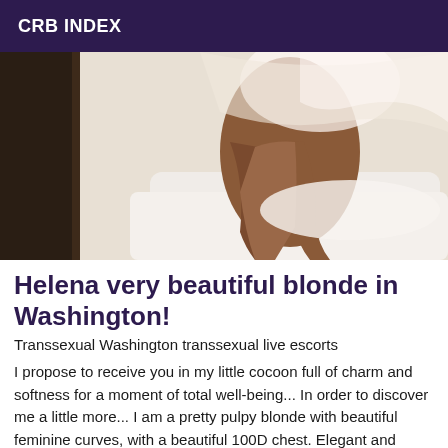CRB INDEX
[Figure (photo): Photo of a person wearing a white sheer outfit, posed on a white couch or surface, showing legs and lower body]
Helena very beautiful blonde in Washington!
Transsexual Washington transsexual live escorts
I propose to receive you in my little cocoon full of charm and softness for a moment of total well-being... In order to discover me a little more... I am a pretty pulpy blonde with beautiful feminine curves, with a beautiful 100D chest. Elegant and refined, I appreciate the beautiful fine lingerie. So you have to at like...